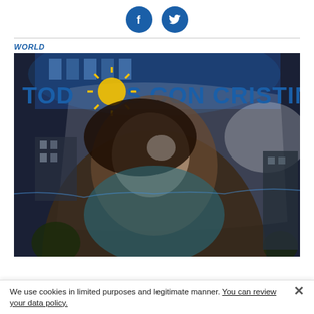[Figure (other): Facebook and Twitter social media icon circles in dark blue]
WORLD
[Figure (photo): Nighttime photo of a large banner/flag reading 'TODOS CON CRISTINA' with a portrait of Cristina Fernández de Kirchner smiling, yellow sun symbol, blue lighting on a building in the background]
We use cookies in limited purposes and legitimate manner. You can review your data policy.